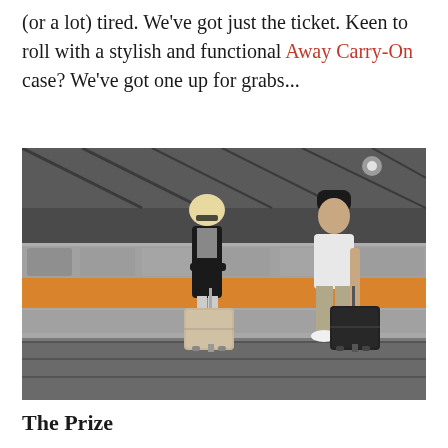(or a lot) tired. We've got just the ticket. Keen to roll with a stylish and functional Away Carry-On case? We've got one up for grabs...
[Figure (photo): Two people standing on a train platform with rolling luggage cases (one beige, one black) while a train passes blurred in the background.]
The Prize